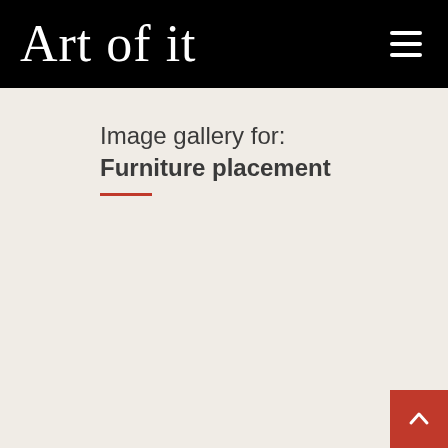Art of it
Image gallery for: Furniture placement